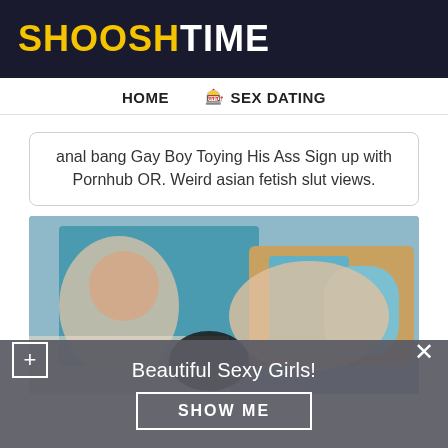SHOOSHTIME
HOME   🎰 SEX DATING
anal bang Gay Boy Toying His Ass Sign up with Pornhub OR. Weird asian fetish slut views.
[Figure (photo): A bedroom scene with two people on a bed with blue and yellow headboard and blue pillow; adult content]
Beautiful Sexy Girls!
SHOW ME